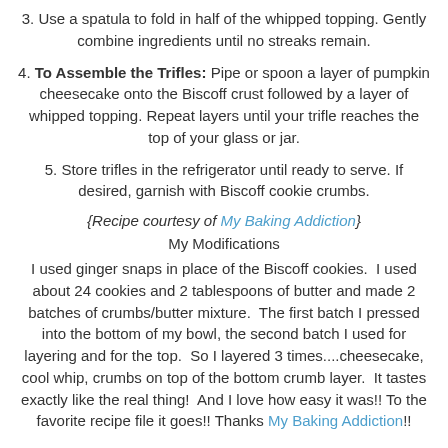3. Use a spatula to fold in half of the whipped topping. Gently combine ingredients until no streaks remain.
4. To Assemble the Trifles: Pipe or spoon a layer of pumpkin cheesecake onto the Biscoff crust followed by a layer of whipped topping. Repeat layers until your trifle reaches the top of your glass or jar.
5. Store trifles in the refrigerator until ready to serve. If desired, garnish with Biscoff cookie crumbs.
{Recipe courtesy of My Baking Addiction}
My Modifications
I used ginger snaps in place of the Biscoff cookies.  I used about 24 cookies and 2 tablespoons of butter and made 2 batches of crumbs/butter mixture.  The first batch I pressed into the bottom of my bowl, the second batch I used for layering and for the top.  So I layered 3 times....cheesecake, cool whip, crumbs on top of the bottom crumb layer.  It tastes exactly like the real thing!  And I love how easy it was!! To the favorite recipe file it goes!! Thanks My Baking Addiction!!